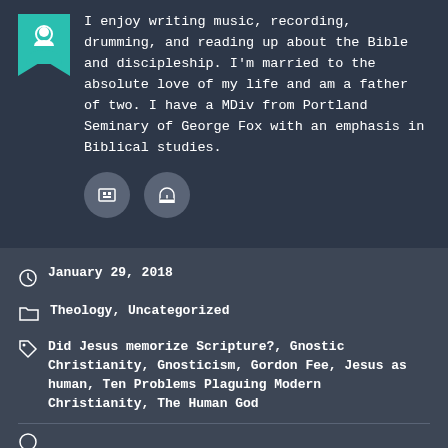I enjoy writing music, recording, drumming, and reading up about the Bible and discipleship. I'm married to the absolute love of my life and am a father of two. I have a MDiv from Portland Seminary of George Fox with an emphasis in Biblical studies.
January 29, 2018
Theology, Uncategorized
Did Jesus memorize Scripture?, Gnostic Christianity, Gnosticism, Gordon Fee, Jesus as human, Ten Problems Plaguing Modern Christianity, The Human God